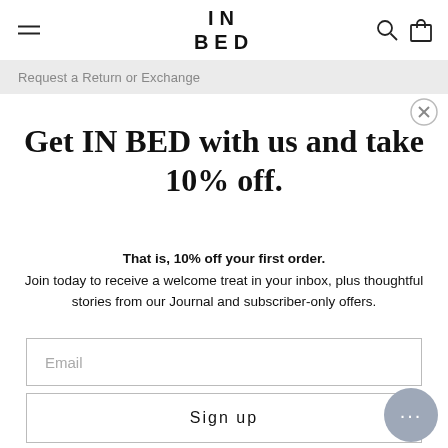IN BED
Request a Return or Exchange
Get IN BED with us and take 10% off.
That is, 10% off your first order. Join today to receive a welcome treat in your inbox, plus thoughtful stories from our Journal and subscriber-only offers.
Email
Sign up